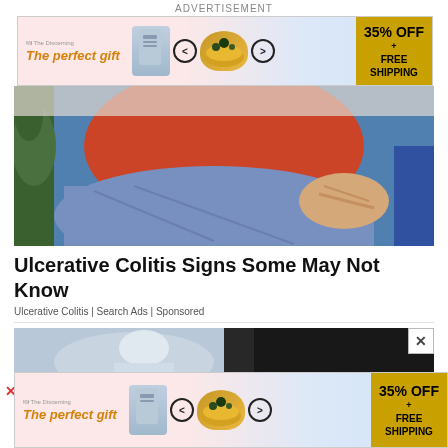ADVERTISEMENT
[Figure (screenshot): Advertisement banner: The perfect gift, 35% OFF + FREE SHIPPING, with product images and arrows]
[Figure (photo): Person in red shirt sitting on blue sofa holding their knee/leg area, suggesting pain]
Ulcerative Colitis Signs Some May Not Know
Ulcerative Colitis | Search Ads | Sponsored
[Figure (photo): Second article preview photo showing a person in grey/white clothing]
[Figure (screenshot): Bottom advertisement banner: The perfect gift, 35% OFF + FREE SHIPPING]